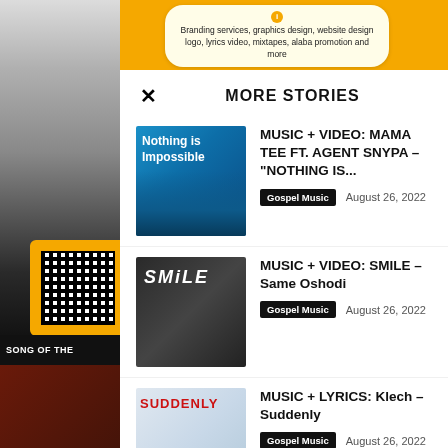[Figure (screenshot): Background promotional banner with orange/yellow color and person in headphones on the left side]
Branding services, graphics design, website design logo, lyrics video, mixtapes, alaba promotion and more
MORE STORIES
[Figure (photo): Album art for Nothing Is Impossible by Mama Tee ft. Agent Snypa - two women on blue background]
MUSIC + VIDEO: MAMA TEE FT. AGENT SNYPA – "NOTHING IS...
Gospel Music   August 26, 2022
[Figure (photo): Album art for Smile by Same Oshodi - two men smiling on dark background]
MUSIC + VIDEO: SMILE – Same Oshodi
Gospel Music   August 26, 2022
[Figure (photo): Album art for Suddenly by Klech - man on light background with red SUDDENLY text]
MUSIC + LYRICS: Klech – Suddenly
Gospel Music   August 26, 2022